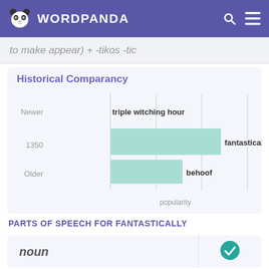WORDPANDA
to make appear) + -tikos -tic
Historical Comparancy
[Figure (bar-chart): Historical Comparancy]
PARTS OF SPEECH FOR FANTASTICALLY
|  |  |
| --- | --- |
| noun | ✓ |